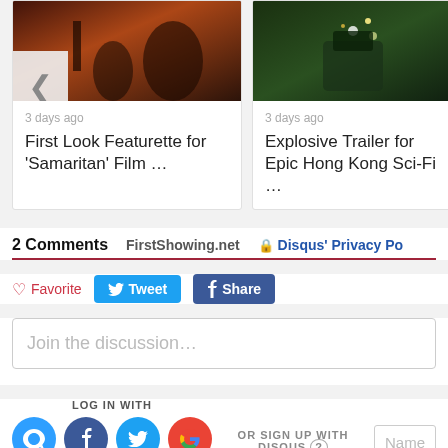[Figure (screenshot): Article card: movie set photo (brownish/red tones) with a back/left arrow navigation button overlay. Date: 3 days ago. Title: First Look Featurette for 'Samaritan' Film …]
[Figure (screenshot): Article card: sci-fi robot/action photo (green/dark tones). Date: 3 days ago. Title: Explosive Trailer for Epic Hong Kong Sci-Fi …]
2 Comments   FirstShowing.net   🔒 Disqus' Privacy Po…
♡ Favorite   Tweet   f Share
Join the discussion…
LOG IN WITH
OR SIGN UP WITH DISQUS ?
Name